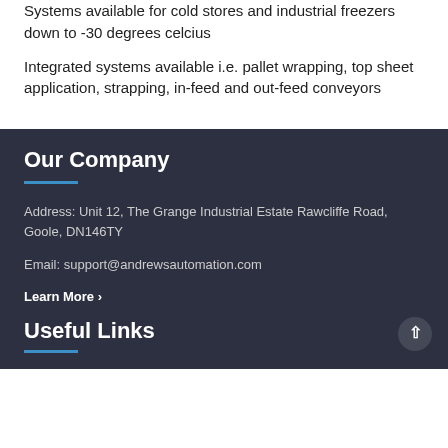Systems available for cold stores and industrial freezers down to -30 degrees celcius
Integrated systems available i.e. pallet wrapping, top sheet application, strapping, in-feed and out-feed conveyors
Our Company
Address: Unit 12, The Grange Industrial Estate Rawcliffe Road, Goole, DN146TY
Email: support@andrewsautomation.com
Learn More ›
Useful Links